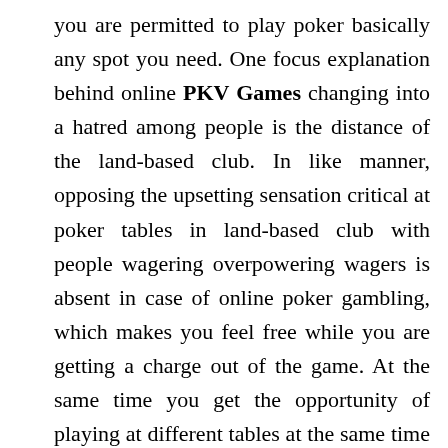you are permitted to play poker basically any spot you need. One focus explanation behind online PKV Games changing into a hatred among people is the distance of the land-based club. In like manner, opposing the upsetting sensation critical at poker tables in land-based club with people wagering overpowering wagers is absent in case of online poker gambling, which makes you feel free while you are getting a charge out of the game. At the same time you get the opportunity of playing at different tables at the same time in new windows. Nearby this, you would need to hold tight for long in the standard club for the managing and the hands to get overhauled. So you have a set whole changes where you can play at the land-based club. Chitchat to this, one is permitted to play in various